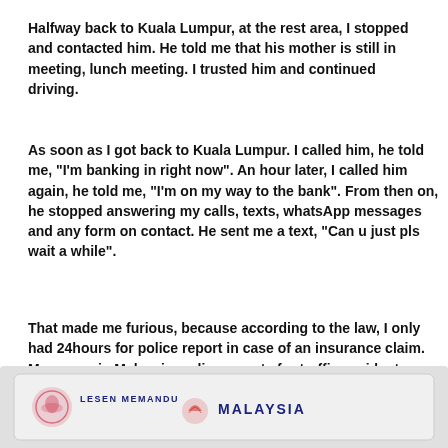Halfway back to Kuala Lumpur, at the rest area, I stopped and contacted him. He told me that his mother is still in meeting, lunch meeting. I trusted him and continued driving.
As soon as I got back to Kuala Lumpur. I called him, he told me, "I'm banking in right now". An hour later, I called him again, he told me, "I'm on my way to the bank". From then on, he stopped answering my calls, texts, whatsApp messages and any form on contact. He sent me a text, "Can u just pls wait a while".
That made me furious, because according to the law, I only had 24hours for police report in case of an insurance claim. Moreover, in Malaysia, police reports for traffic accidents are localized, which means, by reporting in Kuala Lumpur, he will be immune to any form of legal action in Penang.
[Figure (photo): Partial view of a Malaysian driving license (Lesen Memandu) card showing the text LESEN MEMANDU and MALAYSIA with official logos.]